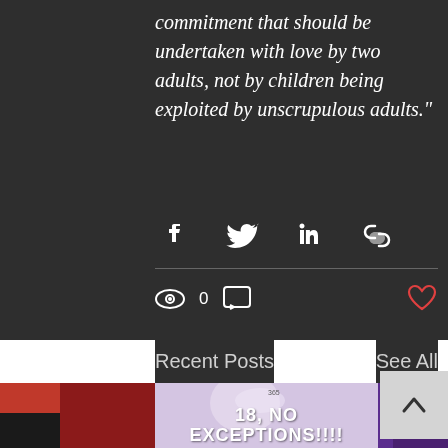commitment that should be undertaken with love by two adults, not by children being exploited by unscrupulous adults."
[Figure (screenshot): Social media share icons: Facebook, Twitter, LinkedIn, and link/copy icon]
[Figure (screenshot): Post stats: eye/views icon with count 0, comment icon, and heart/like icon in red on the right]
Recent Posts
See All
[Figure (photo): Blog post thumbnail image showing text overlay '18, NO EXCEPTIONS!!!!' on a light purple/lavender background with a person in white hijab, flanked by a red image on the left and purple image on the right]